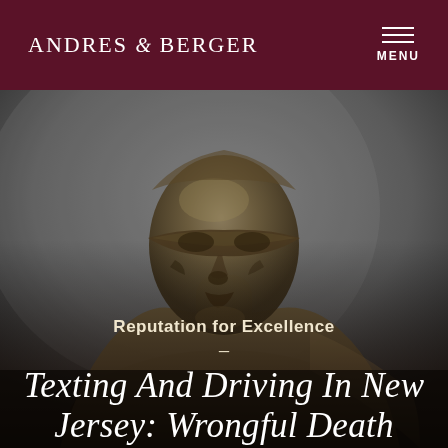ANDRES & BERGER
[Figure (photo): Close-up of a bronze blindfolded Lady Justice statue against a dark gray background, showing the face and upper torso with a blindfold across the eyes]
Reputation for Excellence
Texting And Driving In New Jersey: Wrongful Death